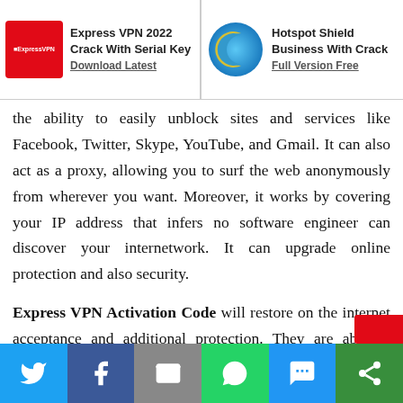Express VPN 2022 Crack With Serial Key Download Latest | Hotspot Shield Business With Crack Full Version Free
the ability to easily unblock sites and services like Facebook, Twitter, Skype, YouTube, and Gmail. It can also act as a proxy, allowing you to surf the web anonymously from wherever you want. Moreover, it works by covering your IP address that infers no software engineer can discover your internetwork. It can upgrade online protection and also security.
Express VPN Activation Code will restore on the internet acceptance and additional protection. They are able to discuss it with some other business, consequently, your accessibility to use essential functions could be limited. Thi...